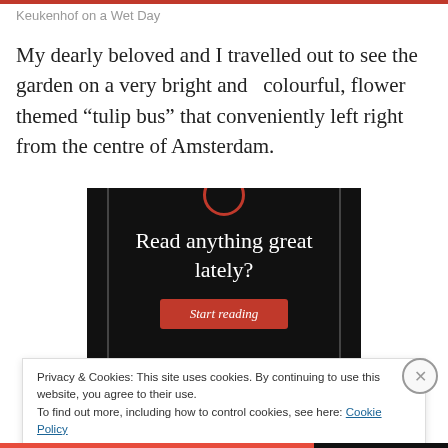Keukenhof on a Wet Day
My dearly beloved and I travelled out to see the garden on a very bright and  colourful, flower themed “tulip bus” that conveniently left right from the centre of Amsterdam.
[Figure (screenshot): Dark advertisement banner with text 'Read anything great lately?' and a red 'Start reading' button, with a red circular logo at the top and vertical gray divider lines on left and right sides.]
Privacy & Cookies: This site uses cookies. By continuing to use this website, you agree to their use.
To find out more, including how to control cookies, see here: Cookie Policy
Close and accept